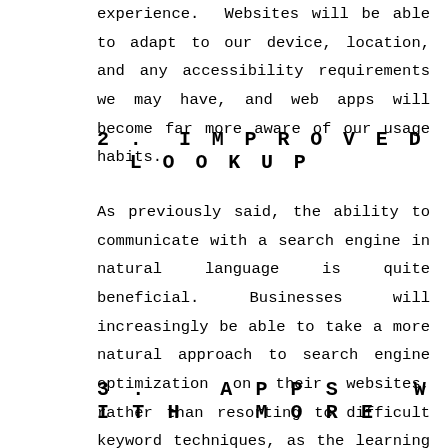experience. Websites will be able to adapt to our device, location, and any accessibility requirements we may have, and web apps will become far more aware of our usage habits.
2. IMPROVED LOOKUP
As previously said, the ability to communicate with a search engine in natural language is quite beneficial. Businesses will increasingly be able to take a more natural approach to search engine optimization on their websites, rather than resorting to difficult keyword techniques, as the learning curve becomes almost non-existent.
3. APPS WITH MORE CONTENT